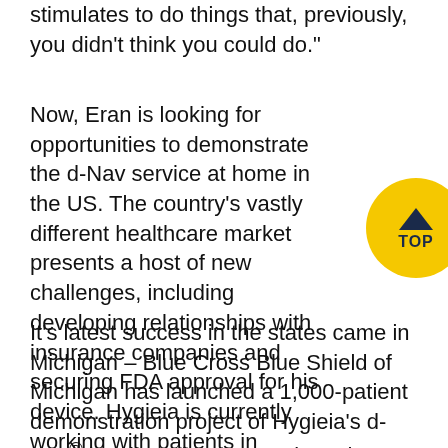stimulates to do things that, previously, you didn’t think you could do.”
Now, Eran is looking for opportunities to demonstrate the d-Nav service at home in the US. The country’s vastly different healthcare market presents a host of new challenges, including developing relationships with insurance companies and securing FDA approval for his device. Hygieia is currently working with patients in Minneapolis, Des Moines, and Henry Ford Health System in Detroit.
It’s latest success in the states came in Michigan – Blue Cross Blue Shield of Michigan has launched a 1,000-patient demonstration project of Hygieia’s d-Nav® insulin guidance service. The project, set to begin in Q2 2016, will evaluate the cost savings associated with the d-Nav service as compared to